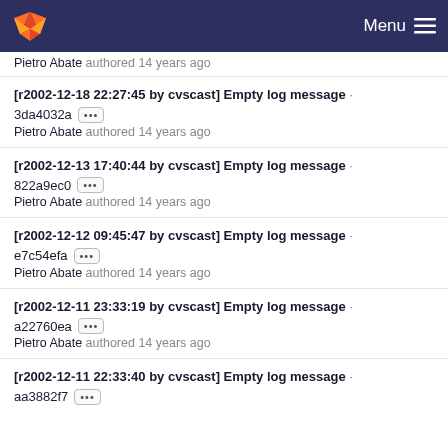Menu
Pietro Abate authored 14 years ago
[r2002-12-18 22:27:45 by cvscast] Empty log message · 3da4032a ··· Pietro Abate authored 14 years ago
[r2002-12-13 17:40:44 by cvscast] Empty log message · 822a9ec0 ··· Pietro Abate authored 14 years ago
[r2002-12-12 09:45:47 by cvscast] Empty log message · e7c54efa ··· Pietro Abate authored 14 years ago
[r2002-12-11 23:33:19 by cvscast] Empty log message · a22760ea ··· Pietro Abate authored 14 years ago
[r2002-12-11 22:33:40 by cvscast] Empty log message · aa3882f7 ···